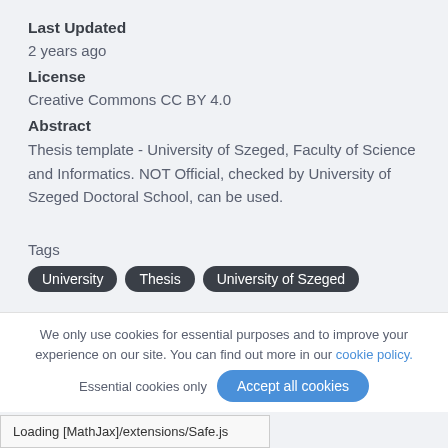Last Updated
2 years ago
License
Creative Commons CC BY 4.0
Abstract
Thesis template - University of Szeged, Faculty of Science and Informatics. NOT Official, checked by University of Szeged Doctoral School, can be used.
Tags
University
Thesis
University of Szeged
Find More Templates
We only use cookies for essential purposes and to improve your experience on our site. You can find out more in our cookie policy.
Loading [MathJax]/extensions/Safe.js